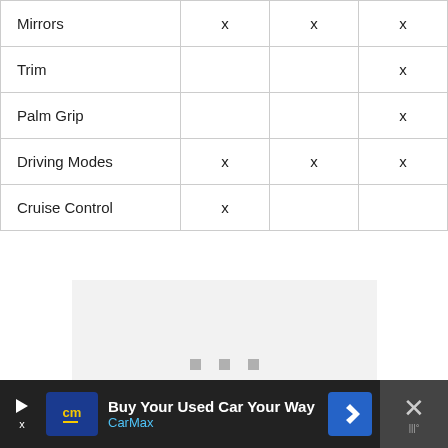|  |  |  |  |
| --- | --- | --- | --- |
| Mirrors | x | x | x |
| Trim |  |  | x |
| Palm Grip |  |  | x |
| Driving Modes | x | x | x |
| Cruise Control | x |  |  |
[Figure (other): Light gray rectangular image placeholder area with three small gray square dots below it, and an advertisement banner at the bottom for CarMax reading 'Buy Your Used Car Your Way']